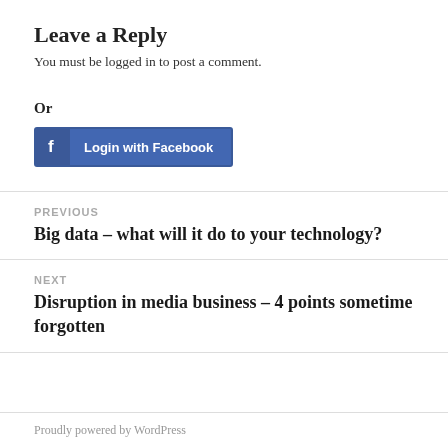Leave a Reply
You must be logged in to post a comment.
Or
[Figure (other): Login with Facebook button with Facebook icon and blue background]
PREVIOUS
Big data – what will it do to your technology?
NEXT
Disruption in media business – 4 points sometime forgotten
Proudly powered by WordPress